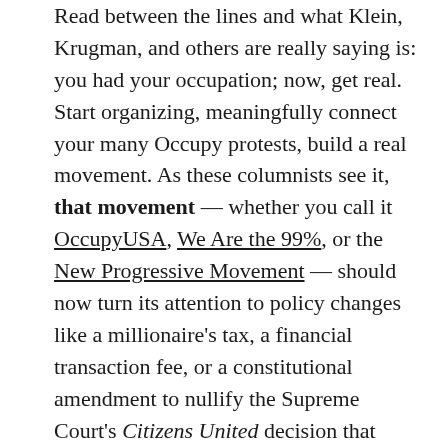Read between the lines and what Klein, Krugman, and others are really saying is: you had your occupation; now, get real. Start organizing, meaningfully connect your many Occupy protests, build a real movement. As these columnists see it, that movement — whether you call it OccupyUSA, We Are the 99%, or the New Progressive Movement — should now turn its attention to policy changes like a millionaire's tax, a financial transaction fee, or a constitutional amendment to nullify the Supreme Court's Citizens United decision that loosed a torrent of cash into American elections. It should think about supporting political candidates. It should start making a nuts-and-bolts difference in American politics.
But such assessments miss an important truth: Occupy Wall Street has already won its first